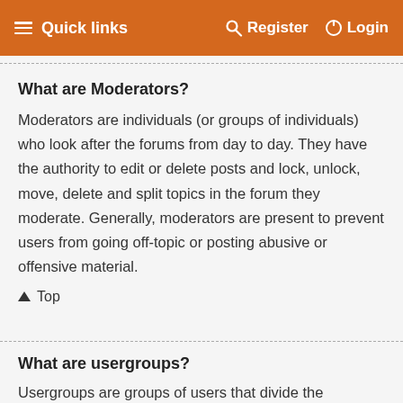Quick links  Register  Login
What are Moderators?
Moderators are individuals (or groups of individuals) who look after the forums from day to day. They have the authority to edit or delete posts and lock, unlock, move, delete and split topics in the forum they moderate. Generally, moderators are present to prevent users from going off-topic or posting abusive or offensive material.
Top
What are usergroups?
Usergroups are groups of users that divide the